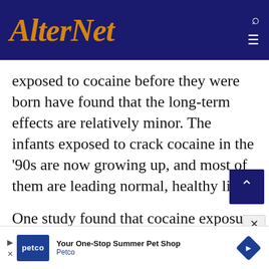AlterNet
exposed to cocaine before they were born have found that the long-term effects are relatively minor. The infants exposed to crack cocaine in the ’90s are now growing up, and most of them are leading normal, healthy lives.
One study found that cocaine exposure slows fetal growth, but the difference went away as cocaine-exposed children grew up. Research measuring brain function has found
[Figure (screenshot): Petco advertisement banner: Your One-Stop Summer Pet Shop]
Your One-Stop Summer Pet Shop
Petco